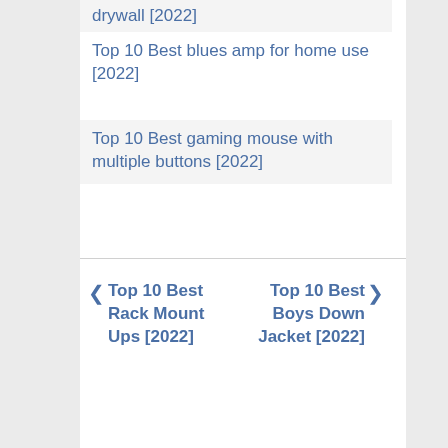drywall [2022]
Top 10 Best blues amp for home use [2022]
Top 10 Best gaming mouse with multiple buttons [2022]
◀ Top 10 Best Rack Mount Ups [2022]
Top 10 Best Boys Down Jacket [2022] ▶